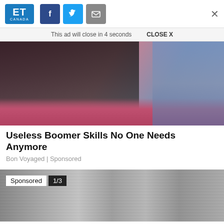[Figure (screenshot): ET Canada logo — blue rounded square with ET in white bold and CANADA in small white letters below]
[Figure (screenshot): Social sharing buttons: Facebook (dark blue with f), Twitter (light blue with bird), Email (gray with envelope icon), and X close button on far right]
This ad will close in 4 seconds   CLOSE X
[Figure (photo): Photo of a woman in black top lying on a pink satin surface with a person in jeans visible at right]
Useless Boomer Skills No One Needs Anymore
Bon Voyaged | Sponsored
[Figure (photo): Black and white photo of crowd at a sports event with Sponsored 1/3 badge overlay]